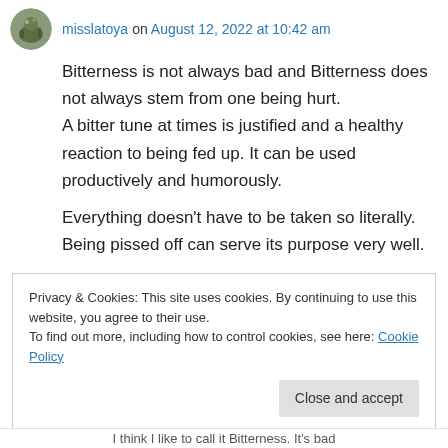misslatoya on August 12, 2022 at 10:42 am
Bitterness is not always bad and Bitterness does not always stem from one being hurt. A bitter tune at times is justified and a healthy reaction to being fed up. It can be used productively and humorously.
Everything doesn't have to be taken so literally. Being pissed off can serve its purpose very well.
★ Like
Privacy & Cookies: This site uses cookies. By continuing to use this website, you agree to their use.
To find out more, including how to control cookies, see here: Cookie Policy
Close and accept
i think i like to call it Bitterness. It's bad